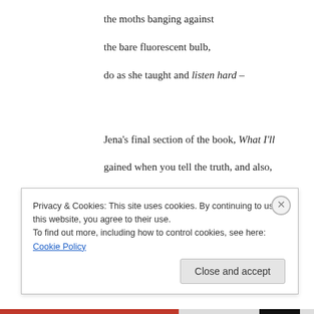the moths banging against
the bare fluorescent bulb,
do as she taught and listen hard –
Jena's final section of the book, What I'll gained when you tell the truth, and also,
Tonight is all flickering flame
and a prayer to the waning moon
high above my children's beds,
a head bowed in gratitude
for the strong medicine
I received today,
Walking on My Hands
Privacy & Cookies: This site uses cookies. By continuing to use this website, you agree to their use.
To find out more, including how to control cookies, see here: Cookie Policy